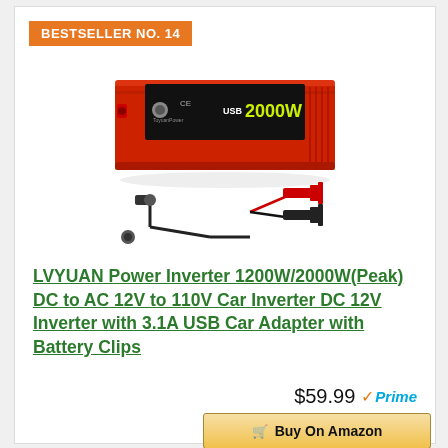BESTSELLER NO. 14
[Figure (photo): Red LVYUAN power inverter with black front panel showing USB 2000W label, with black cigarette lighter cable and red/black battery clips accessories below]
LVYUAN Power Inverter 1200W/2000W(Peak) DC to AC 12V to 110V Car Inverter DC 12V Inverter with 3.1A USB Car Adapter with Battery Clips
$59.99 Prime
Buy On Amazon